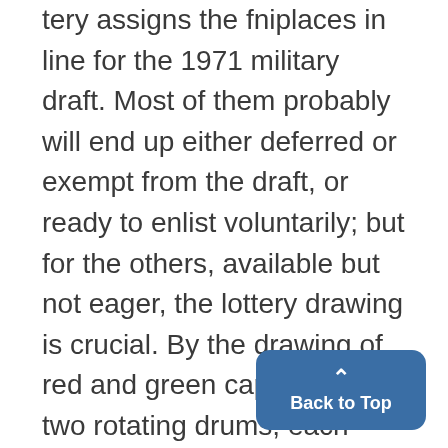tery assigns the fniplaces in line for the 1971 military draft. Most of them probably will end up either deferred or exempt from the draft, or ready to enlist voluntarily; but for the others, available but not eager, the lottery drawing is crucial. By the drawing of red and green capsules from two rotating drums, each man's birthday is matched to a number from one to 365. Available men will be called